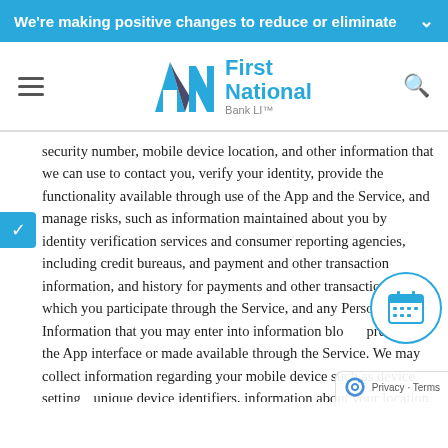We're making positive changes to reduce or eliminate
[Figure (logo): First National Bank LI logo with navigation hamburger menu and search icon]
security number, mobile device location, and other information that we can use to contact you, verify your identity, provide the functionality available through use of the App and the Service, and manage risks, such as information maintained about you by identity verification services and consumer reporting agencies, including credit bureaus, and payment and other transaction information, and history for payments and other transactions in which you participate through the Service, and any Personal Information that you may enter into information blocks present in the App interface or made available through the Service. We may collect information regarding your mobile device such as device settings, unique device identifiers, information about your location, and analytical information that may assist with diagnostics and performance. For your